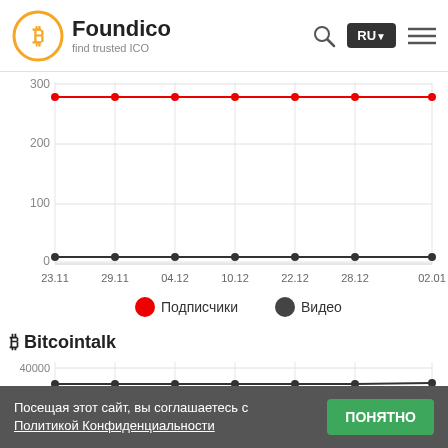Foundico — find trusted ICO
[Figure (line-chart): YouTube subscribers and videos]
[Figure (line-chart): Bitcointalk]
Посещая этот сайт, вы соглашаетесь с Политикой Конфиденциальности